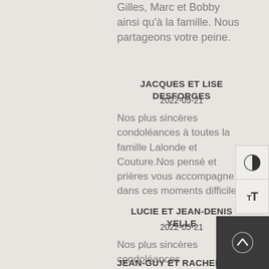Gilles, Marc et Bobby ainsi qu'à la famille. Nous partageons votre peine.
JACQUES ET LISE DESFORGES
2022-05-21
Nos plus sincères condoléances à toutes la famille Lalonde et Couture.Nos pensé et prières vous accompagne dans ces moments difficiles.
LUCIE ET JEAN-DENIS YELLE
2022-05-21
Nos plus sincères condoléances à la famille Lalonde
JEAN-GUY ET RACHEL